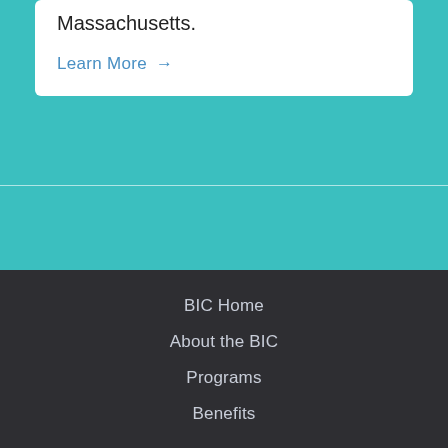Massachusetts.
Learn More →
BIC Members in the News
BIC Home
About the BIC
Programs
Benefits